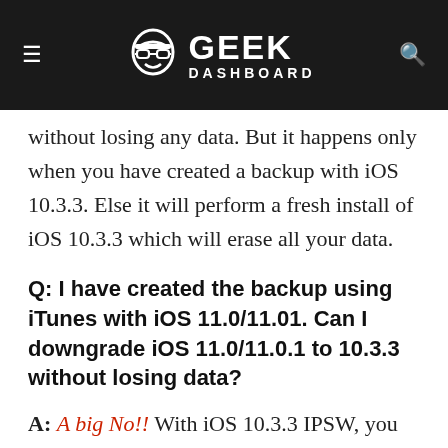GEEK DASHBOARD
without losing any data. But it happens only when you have created a backup with iOS 10.3.3. Else it will perform a fresh install of iOS 10.3.3 which will erase all your data.
Q: I have created the backup using iTunes with iOS 11.0/11.01. Can I downgrade iOS 11.0/11.0.1 to 10.3.3 without losing data?
A: A big No!! With iOS 10.3.3 IPSW, you cannot restore your iPhone to the backups created with iOS 11.0/11.0.1. Hence it is not possible